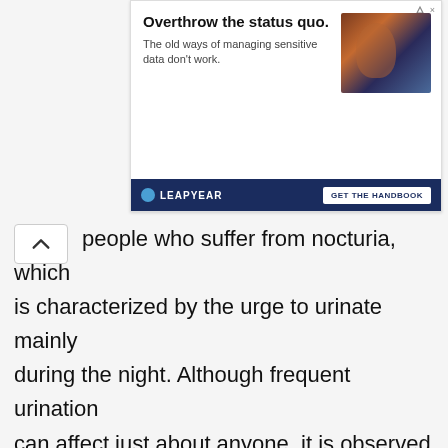[Figure (screenshot): Advertisement banner for Leapyear with headline 'Overthrow the status quo. The old ways of managing sensitive data don't work.' with a GET THE HANDBOOK call-to-action button and an image of a person overlaid with digital graphics.]
people who suffer from nocturia, which is characterized by the urge to urinate mainly during the night. Although frequent urination can affect just about anyone, it is observed that women are more likely to suffer from it. As you age, many of your organs weaken, which affects their functioning. For this reason frequent urination is a common problem for those who are elderly. There are several factors that could lead to frequent urination and based on the causes, you may also notice other urinary problems, which